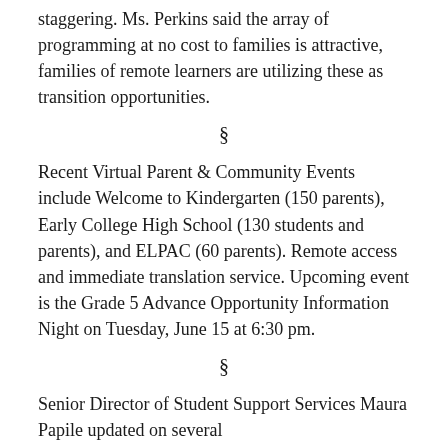staggering. Ms. Perkins said the array of programming at no cost to families is attractive, families of remote learners are utilizing these as transition opportunities.
§
Recent Virtual Parent & Community Events include Welcome to Kindergarten (150 parents), Early College High School (130 students and parents), and ELPAC (60 parents). Remote access and immediate translation service. Upcoming event is the Grade 5 Advance Opportunity Information Night on Tuesday, June 15 at 6:30 pm.
§
Senior Director of Student Support Services Maura Papile updated on several